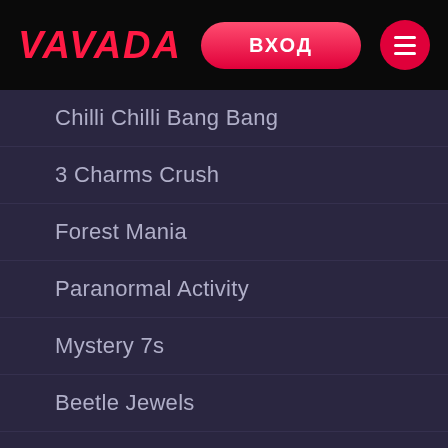VAVADA | ВХОД
Chilli Chilli Bang Bang
3 Charms Crush
Forest Mania
Paranormal Activity
Mystery 7s
Beetle Jewels
Robo Smash
Dalai Panda
Eye of the Amulet
Pinata Fiesta